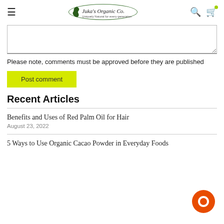Juka's Organic Co.
Please note, comments must be approved before they are published
Post comment
Recent Articles
Benefits and Uses of Red Palm Oil for Hair
August 23, 2022
5 Ways to Use Organic Cacao Powder in Everyday Foods